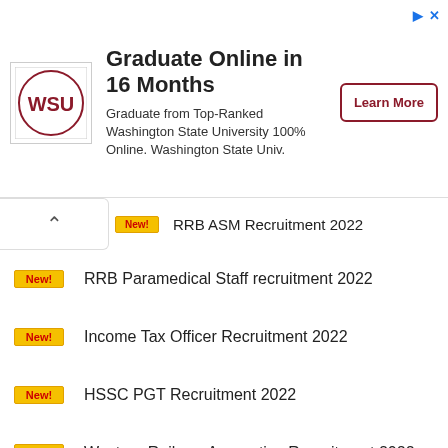[Figure (infographic): Advertisement banner: Washington State University logo, headline 'Graduate Online in 16 Months', body text 'Graduate from Top-Ranked Washington State University 100% Online. Washington State Univ.', and a 'Learn More' button.]
RRB ASM Recruitment 2022
RRB Paramedical Staff recruitment 2022
Income Tax Officer Recruitment 2022
HSSC PGT Recruitment 2022
Western Railway Apprentice Recruitment 2022
FACT Trade Apprentice Recruitment 2022
ISRO Technician Recruitment 2022
SSC MTS Recruitment 2022